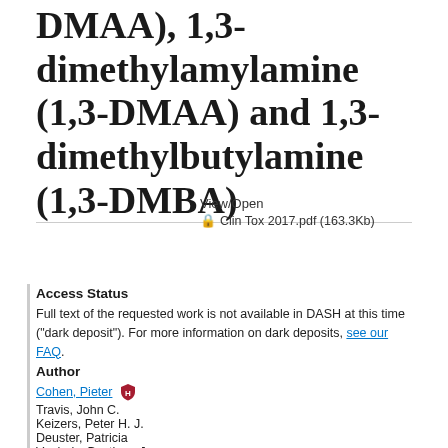DMAA), 1,3-dimethylamylamine (1,3-DMAA) and 1,3-dimethylbutylamine (1,3-DMBA)
View/Open
🔒 Clin Tox 2017.pdf (163.3Kb)
Access Status
Full text of the requested work is not available in DASH at this time ("dark deposit"). For more information on dark deposits, see our FAQ.
Author
Cohen, Pieter
Travis, John C.
Keizers, Peter H. J.
Deuster, Patricia
Vonhuis, Bastiaan J.